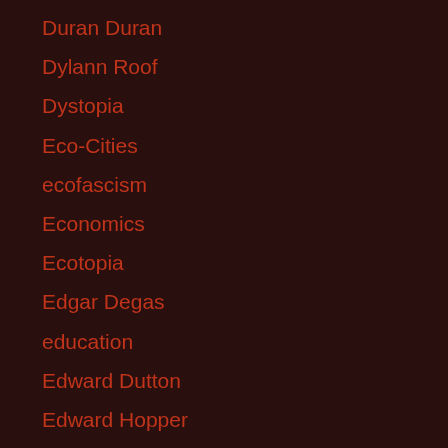Duran Duran
Dylann Roof
Dystopia
Eco-Cities
ecofascism
Economics
Ecotopia
Edgar Degas
education
Edward Dutton
Edward Hopper
Edward Snowden
Effective Altruism
Egypt
Fivend Berge